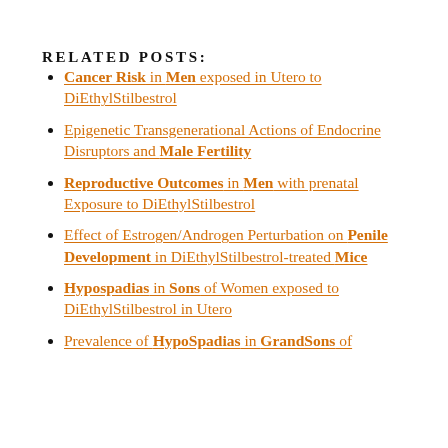RELATED POSTS:
Cancer Risk in Men exposed in Utero to DiEthylStilbestrol
Epigenetic Transgenerational Actions of Endocrine Disruptors and Male Fertility
Reproductive Outcomes in Men with prenatal Exposure to DiEthylStilbestrol
Effect of Estrogen/Androgen Perturbation on Penile Development in DiEthylStilbestrol-treated Mice
Hypospadias in Sons of Women exposed to DiEthylStilbestrol in Utero
Prevalence of HypoSpadias in GrandSons of ...